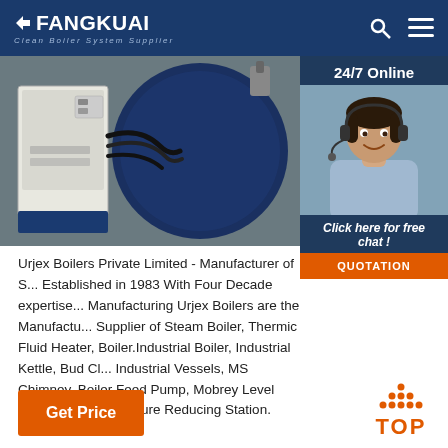FANGKUAI — Clean Boiler System Supplier
[Figure (photo): Industrial boiler equipment photo — white control panel cabinet next to large cylindrical blue boiler vessel with black cables/pipes]
[Figure (photo): 24/7 Online customer service representative — woman with headset smiling, with 'Click here for free chat!' and QUOTATION button overlay]
Urjex Boilers Private Limited - Manufacturer of S... Established in 1983 With Four Decade expertise... Manufacturing Urjex Boilers are the Manufactur... Supplier of Steam Boiler, Thermic Fluid Heater, Boiler.Industrial Boiler, Industrial Kettle, Bud Cl... Industrial Vessels, MS Chimney, Boiler Feed Pump, Mobrey Level Controller and Pressure Reducing Station.
Get Price
TOP